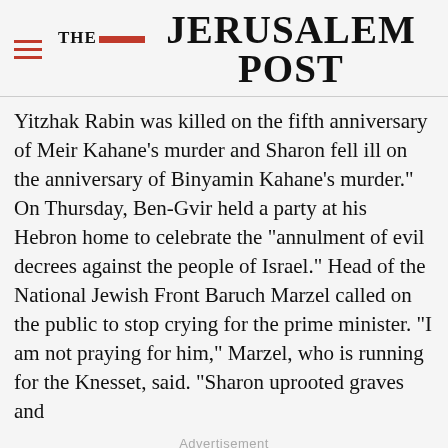THE JERUSALEM POST
Yitzhak Rabin was killed on the fifth anniversary of Meir Kahane's murder and Sharon fell ill on the anniversary of Binyamin Kahane's murder." On Thursday, Ben-Gvir held a party at his Hebron home to celebrate the "annulment of evil decrees against the people of Israel." Head of the National Jewish Front Baruch Marzel called on the public to stop crying for the prime minister. "I am not praying for him," Marzel, who is running for the Knesset, said. "Sharon uprooted graves and
Advertisement